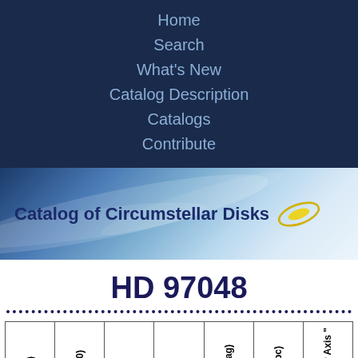Home
Search
What's New
Catalog Description
Catalogs
Contribute
[Figure (illustration): Catalog of Circumstellar Disks banner with blue gradient background and disk logo]
HD 97048
| RA (J2000) | DEC (J2000) | Category | Spec Type | R band (mag) | Distance (pc) | Disk Major Axis " |
| --- | --- | --- | --- | --- | --- | --- |